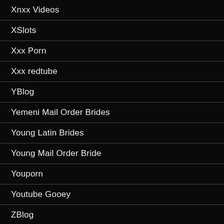Xnxx Videos
XSlots
Xxx Porn
Xxx redtube
YBlog
Yemeni Mail Order Brides
Young Latin Brides
Young Mail Order Bride
Youporn
Youtube Gooey
ZBlog
zenfolio review
zeus slot